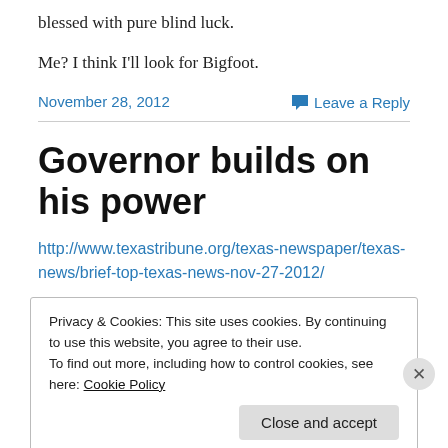blessed with pure blind luck.
Me? I think I’ll look for Bigfoot.
November 28, 2012
Leave a Reply
Governor builds on his power
http://www.texastribune.org/texas-newspaper/texas-news/brief-top-texas-news-nov-27-2012/
Privacy & Cookies: This site uses cookies. By continuing to use this website, you agree to their use.
To find out more, including how to control cookies, see here: Cookie Policy
Close and accept